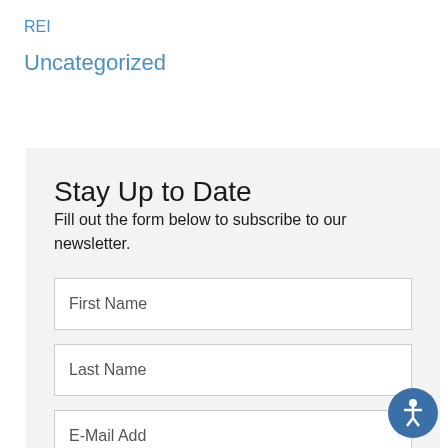REI
Uncategorized
Stay Up to Date
Fill out the form below to subscribe to our newsletter.
First Name
Last Name
E-Mail Add...